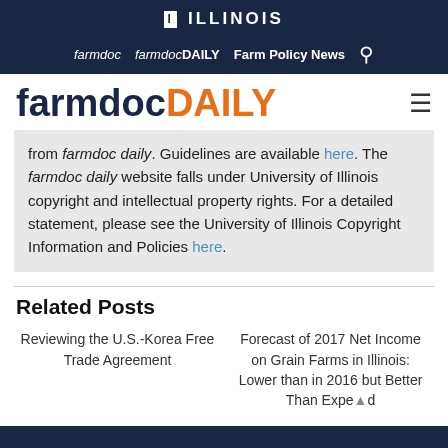I ILLINOIS
farmdoc  farmdocDAILY  Farm Policy News
farmdocDAILY
from farmdoc daily. Guidelines are available here. The farmdoc daily website falls under University of Illinois copyright and intellectual property rights. For a detailed statement, please see the University of Illinois Copyright Information and Policies here.
Related Posts
Reviewing the U.S.-Korea Free Trade Agreement
Forecast of 2017 Net Income on Grain Farms in Illinois: Lower than in 2016 but Better Than Expected